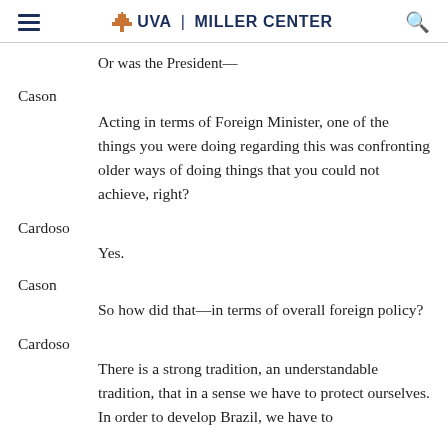UVA | MILLER CENTER
Or was the President—
Cason
Acting in terms of Foreign Minister, one of the things you were doing regarding this was confronting older ways of doing things that you could not achieve, right?
Cardoso
Yes.
Cason
So how did that—in terms of overall foreign policy?
Cardoso
There is a strong tradition, an understandable tradition, that in a sense we have to protect ourselves. In order to develop Brazil, we have to